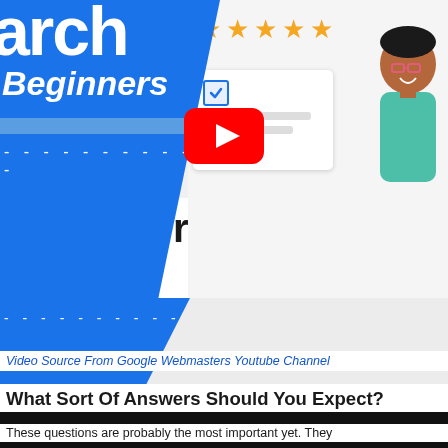[Figure (screenshot): YouTube video thumbnail showing Google Search Console/SEO tutorial content. Left side has blue diagonal panel with 'arch' text and 'Beginners' in italic white, dashed white line. Right side has gold star rating, checklist card with blue checkbox, and illustrated person with glasses. YouTube red play button in center.]
[Figure (screenshot): Partial second video thumbnail showing blue diagonal panel with dashed white line, and black bottom bar, with large text overlay reading 'ips for hiring an SEO' in bold dark letters across the white area above.]
Video Source From Google Webmasters Youtube Channel
What Sort Of Answers Should You Expect?
These questions are probably the most important yet. They